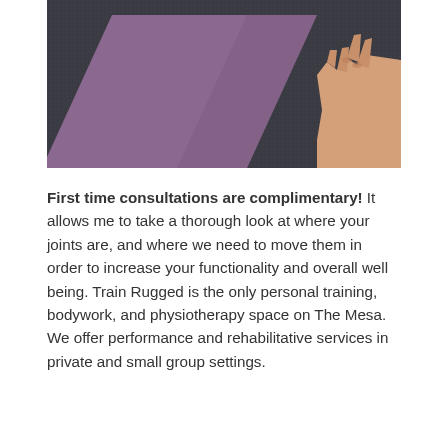[Figure (photo): A purple yoga mat on a dark grey textured floor with a human hand visible in the upper right corner.]
First time consultations are complimentary! It allows me to take a thorough look at where your joints are, and where we need to move them in order to increase your functionality and overall well being. Train Rugged is the only personal training, bodywork, and physiotherapy space on The Mesa. We offer performance and rehabilitative services in private and small group settings.